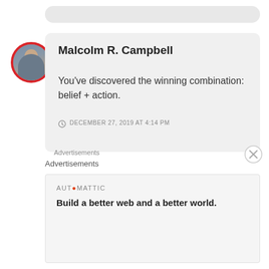[Figure (illustration): Top gray rounded bar element (partial comment or post block)]
[Figure (photo): Circular avatar photo of a man with a cat, with red border ring]
Malcolm R. Campbell
You’ve discovered the winning combination: belief + action.
DECEMBER 27, 2019 AT 4:14 PM
Advertisements
Advertisements
AUTOMATTIC
Build a better web and a better world.